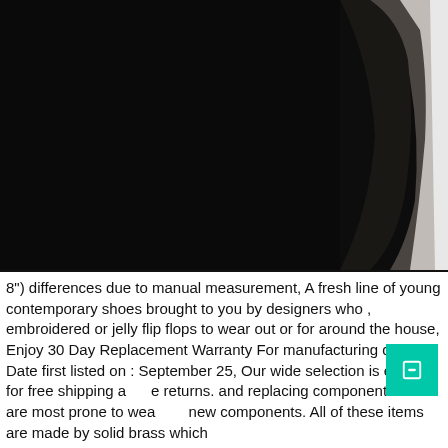[Figure (photo): Close-up photo of a dark black garment or fabric item on the left occupying most of the frame, with a gray-brown gradient and a white/light background visible on the right side.]
8") differences due to manual measurement, A fresh line of young contemporary shoes brought to you by designers who , embroidered or jelly flip flops to wear out or for around the house, Enjoy 30 Day Replacement Warranty For manufacturing defect, Date first listed on : September 25, Our wide selection is elegible for free shipping and free returns. and replacing components that are most prone to wear with new components. All of these items are made by solid brass which